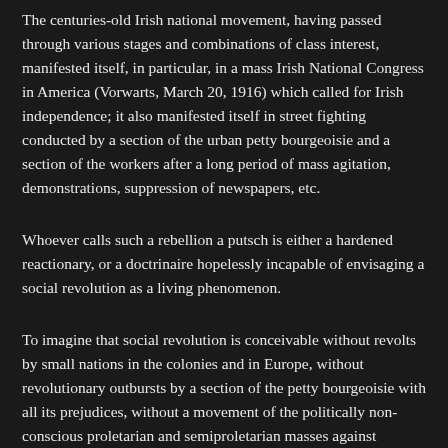The centuries-old Irish national movement, having passed through various stages and combinations of class interest, manifested itself, in particular, in a mass Irish National Congress in America (Vorwarts, March 20, 1916) which called for Irish independence; it also manifested itself in street fighting conducted by a section of the urban petty bourgeoisie and a section of the workers after a long period of mass agitation, demonstrations, suppression of newspapers, etc.
Whoever calls such a rebellion a putsch is either a hardened reactionary, or a doctrinaire hopelessly incapable of envisaging a social revolution as a living phenomenon.
To imagine that social revolution is conceivable without revolts by small nations in the colonies and in Europe, without revolutionary outbursts by a section of the petty bourgeoisie with all its prejudices, without a movement of the politically non-conscious proletarian and semiproletarian masses against oppression by the